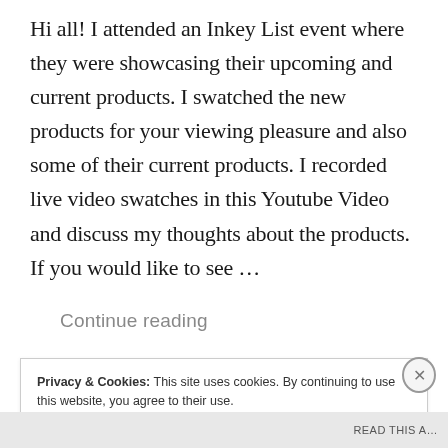Hi all! I attended an Inkey List event where they were showcasing their upcoming and current products. I swatched the new products for your viewing pleasure and also some of their current products. I recorded live video swatches in this Youtube Video and discuss my thoughts about the products. If you would like to see ...
Continue reading
Privacy & Cookies: This site uses cookies. By continuing to use this website, you agree to their use.
To find out more, including how to control cookies, see here: Cookie Policy
Close and accept